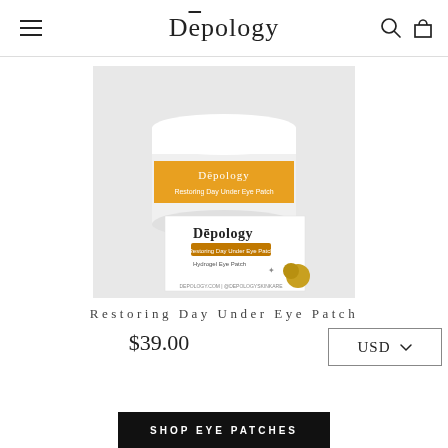Dēpology
[Figure (photo): Depology Restoring Day Under Eye Patch product jar with golden label and product box on light gray background]
Restoring Day Under Eye Patch
$39.00
USD
SHOP EYE PATCHES